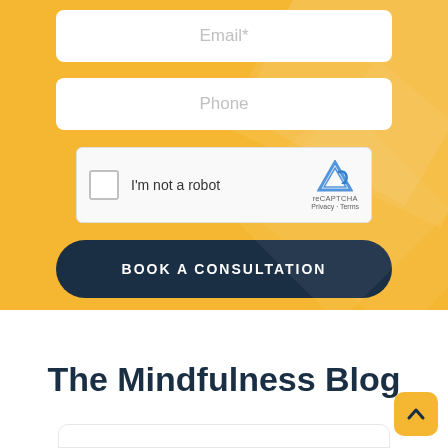Email*
Phone
[Figure (other): reCAPTCHA widget with checkbox labeled 'I'm not a robot' and reCAPTCHA logo with Privacy and Terms links]
BOOK A CONSULTATION
The Mindfulness Blog
[Figure (other): Scroll-to-top button with upward caret arrow on yellow/gold rounded square background]
[Figure (other): Bottom card hint — white rounded rectangle partially visible at bottom of page]